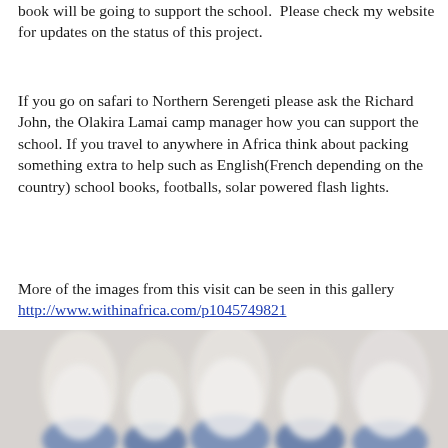book will be going to support the school.  Please check my website for updates on the status of this project.
If you go on safari to Northern Serengeti please ask the Richard John, the Olakira Lamai camp manager how you can support the school. If you travel to anywhere in Africa think about packing something extra to help such as English(French depending on the country) school books, footballs, solar powered flash lights.
More of the images from this visit can be seen in this gallery http://www.withinafrica.com/p1045749821
[Figure (photo): Blurred photograph of people in white and blue clothing, appearing to be schoolchildren or students gathered together outdoors.]